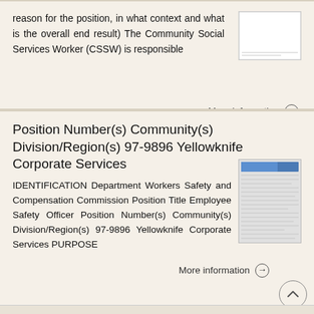reason for the position, in what context and what is the overall end result) The Community Social Services Worker (CSSW) is responsible
More information →
Position Number(s) Community(s) Division/Region(s) 97-9896 Yellowknife Corporate Services
IDENTIFICATION Department Workers Safety and Compensation Commission Position Title Employee Safety Officer Position Number(s) Community(s) Division/Region(s) 97-9896 Yellowknife Corporate Services PURPOSE
More information →